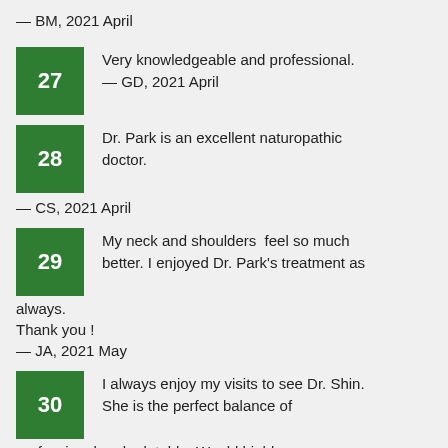— BM, 2021 April
27 Very knowledgeable and professional. — GD, 2021 April
28 Dr. Park is an excellent naturopathic doctor. — CS, 2021 April
29 My neck and shoulders  feel so much better. I enjoyed Dr. Park's treatment as always.
Thank you !
— JA, 2021 May
30 I always enjoy my visits to see Dr. Shin. She is the perfect balance of professional and relatable. Would highly